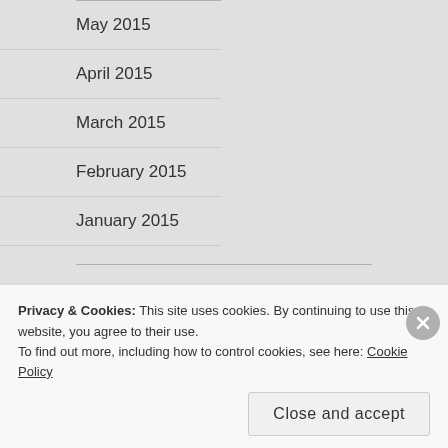May 2015
April 2015
March 2015
February 2015
January 2015
CATEGORIES
African
Art Gallery
Privacy & Cookies: This site uses cookies. By continuing to use this website, you agree to their use.
To find out more, including how to control cookies, see here: Cookie Policy
Close and accept